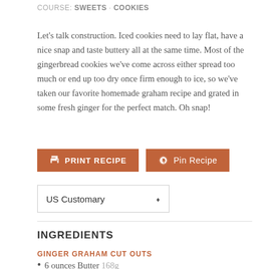COURSE: SWEETS · COOKIES
Let's talk construction. Iced cookies need to lay flat, have a nice snap and taste buttery all at the same time. Most of the gingerbread cookies we've come across either spread too much or end up too dry once firm enough to ice, so we've taken our favorite homemade graham recipe and grated in some fresh ginger for the perfect match. Oh snap!
PRINT RECIPE | Pin Recipe
US Customary
INGREDIENTS
GINGER GRAHAM CUT OUTS
6 ounces Butter 168g